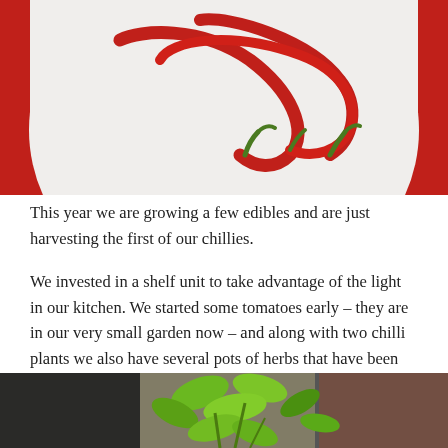[Figure (photo): Photo of red chilli peppers arranged on a white plate with a red background, viewed from above]
This year we are growing a few edibles and are just harvesting the first of our chillies.
We invested in a shelf unit to take advantage of the light in our kitchen. We started some tomatoes early – they are in our very small garden now – and along with two chilli plants we also have several pots of herbs that have been on the go all year.
[Figure (photo): Photo of a green chilli plant with bright green leaves near a window, partially visible at the bottom of the page]